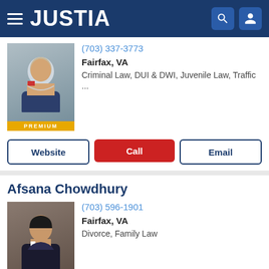JUSTIA
(703) 337-3773
Fairfax, VA
Criminal Law, DUI & DWI, Juvenile Law, Traffic ...
Afsana Chowdhury
(703) 596-1901
Fairfax, VA
Divorce, Family Law
Thomas B. Morrison